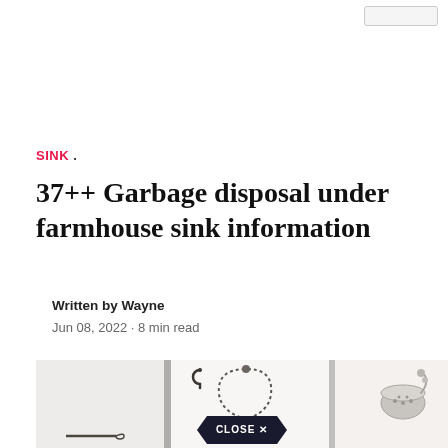SINK .
37++ Garbage disposal under farmhouse sink information
Written by Wayne
Jun 08, 2022 · 8 min read
[Figure (photo): Kitchen farmhouse sink area with decorative faucet, door hardware, and metallic kitchen items on white shiplap wall background. A 'CLOSE X' button overlay appears at the bottom center.]